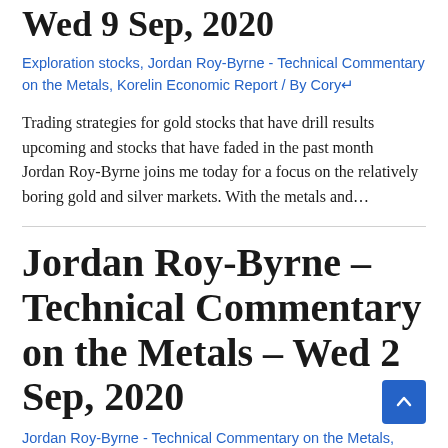Wed 9 Sep, 2020
Exploration stocks, Jordan Roy-Byrne - Technical Commentary on the Metals, Korelin Economic Report / By Cory↵
Trading strategies for gold stocks that have drill results upcoming and stocks that have faded in the past month
Jordan Roy-Byrne joins me today for a focus on the relatively boring gold and silver markets. With the metals and…
Jordan Roy-Byrne – Technical Commentary on the Metals – Wed 2 Sep, 2020
Jordan Roy-Byrne - Technical Commentary on the Metals, Korelin Economic Report, US Equity Markets / By Cory↵
Gold remains range bound but what really matters is precious